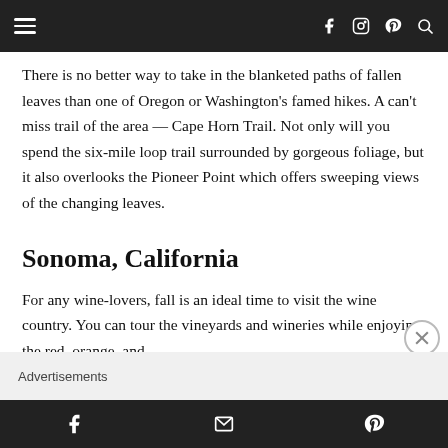Navigation bar with hamburger menu and social icons (Facebook, Instagram, Pinterest, Search)
There is no better way to take in the blanketed paths of fallen leaves than one of Oregon or Washington's famed hikes. A can't miss trail of the area — Cape Horn Trail. Not only will you spend the six-mile loop trail surrounded by gorgeous foliage, but it also overlooks the Pioneer Point which offers sweeping views of the changing leaves.
Sonoma, California
For any wine-lovers, fall is an ideal time to visit the wine country. You can tour the vineyards and wineries while enjoying the red, orange, and
Advertisements
Bottom bar with Facebook, email, and Pinterest icons